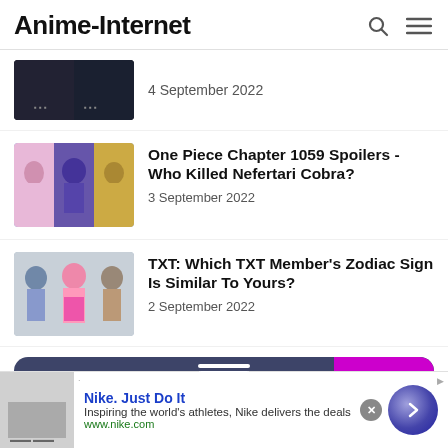Anime-Internet
[Figure (photo): Thumbnail image (partially cropped) for an article dated 4 September 2022]
4 September 2022
[Figure (photo): Thumbnail of One Piece characters including colorful anime figures]
One Piece Chapter 1059 Spoilers - Who Killed Nefertari Cobra?
3 September 2022
[Figure (photo): Thumbnail of TXT K-pop group members outdoors]
TXT: Which TXT Member's Zodiac Sign Is Similar To Yours?
2 September 2022
[Figure (other): Dark blue rounded banner with envelope icon and magenta bar — newsletter signup or ad widget]
[Figure (other): Nike advertisement overlay: Nike. Just Do It — Inspiring the world's athletes, Nike delivers the deals — www.nike.com]